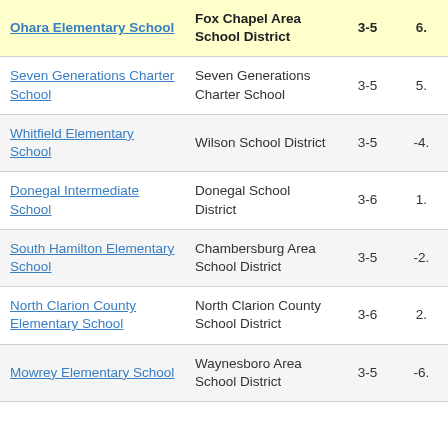| School | District | Grades | Score |
| --- | --- | --- | --- |
| Ohara Elementary School | Fox Chapel Area School District | 3-5 | 6. |
| Seven Generations Charter School | Seven Generations Charter School | 3-5 | 5. |
| Whitfield Elementary School | Wilson School District | 3-5 | -4. |
| Donegal Intermediate School | Donegal School District | 3-6 | 1. |
| South Hamilton Elementary School | Chambersburg Area School District | 3-5 | -2. |
| North Clarion County Elementary School | North Clarion County School District | 3-6 | 2. |
| Mowrey Elementary School | Waynesboro Area School District | 3-5 | -6. |